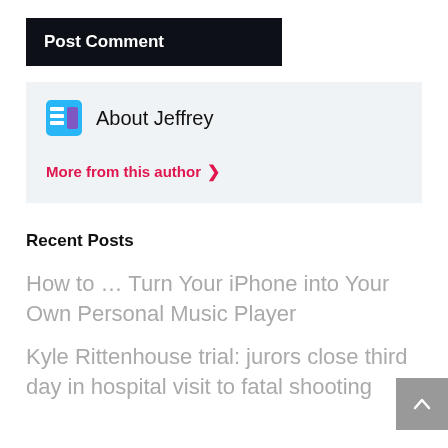Post Comment
About Jeffrey
More from this author >
Recent Posts
How to … Turn Your iPhone into Your Own Personal Music Player
Kyle Rittenhouse trial: jurors close third day in hospital visit to fatal shooting